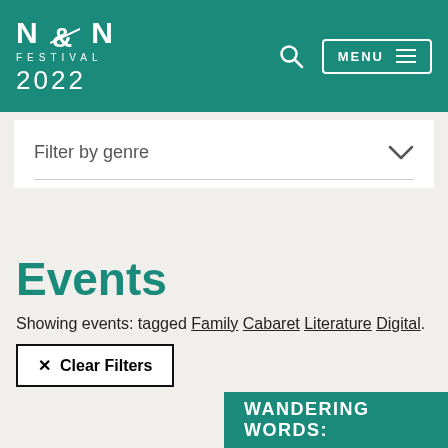[Figure (logo): N&N Festival 2022 logo with teal background, white text]
Filter by genre
Events
Showing events: tagged Family Cabaret Literature Digital.
× Clear Filters
WANDERING WORDS: